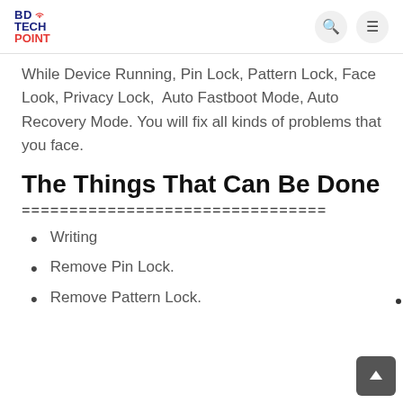BD TECH POINT
While Device Running, Pin Lock, Pattern Lock, Face Look, Privacy Lock,  Auto Fastboot Mode, Auto Recovery Mode. You will fix all kinds of problems that you face.
The Things That Can Be Done
================================
Writing
Remove Pin Lock.
Remove Pattern Lock.